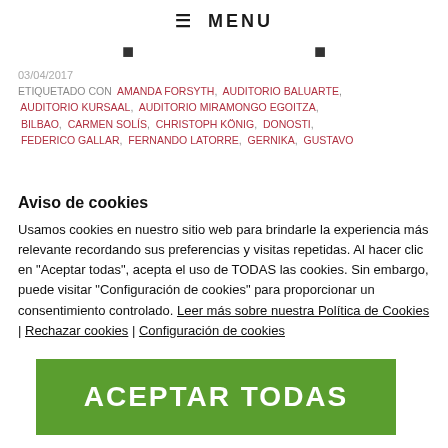☰ MENU
• •
03/04/2017
ETIQUETADO CON  AMANDA FORSYTH,  AUDITORIO BALUARTE,  AUDITORIO KURSAAL,  AUDITORIO MIRAMONGO EGOITZA,  BILBAO,  CARMEN SOLÍS,  CHRISTOPH KÖNIG,  DONOSTI,  FEDERICO GALLAR,  FERNANDO LATORRE,  GERNIKA,  GUSTAVO
Aviso de cookies
Usamos cookies en nuestro sitio web para brindarle la experiencia más relevante recordando sus preferencias y visitas repetidas. Al hacer clic en "Aceptar todas", acepta el uso de TODAS las cookies. Sin embargo, puede visitar "Configuración de cookies" para proporcionar un consentimiento controlado. Leer más sobre nuestra Política de Cookies | Rechazar cookies | Configuración de cookies
ACEPTAR TODAS